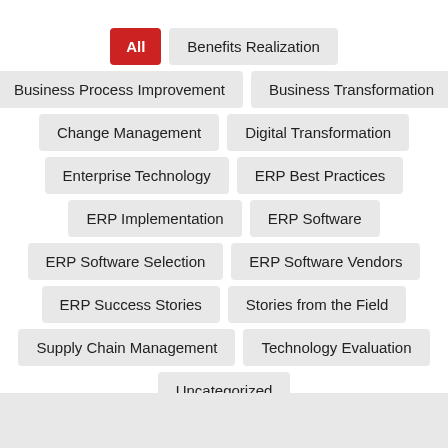All
Benefits Realization
Business Process Improvement
Business Transformation
Change Management
Digital Transformation
Enterprise Technology
ERP Best Practices
ERP Implementation
ERP Software
ERP Software Selection
ERP Software Vendors
ERP Success Stories
Stories from the Field
Supply Chain Management
Technology Evaluation
Uncategorized